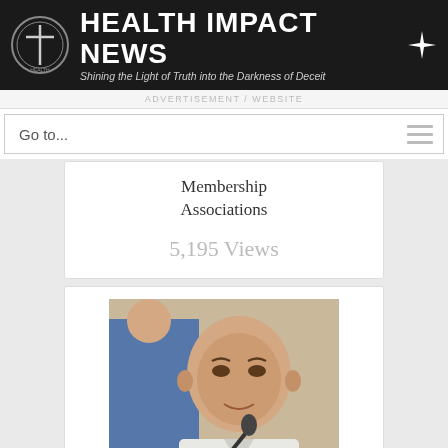HEALTH IMPACT NEWS - Shining the Light of Truth into the Darkness of Deceit
Go to...
Membership Associations
5,195 Views
[Figure (photo): A bald middle-aged man in a white shirt speaking at a microphone at what appears to be an official hearing or conference.]
Top Israeli Scientist: “Monkeypox Outbreak is Linked to mRNA Vaccines” - Twitter Censors Tweet